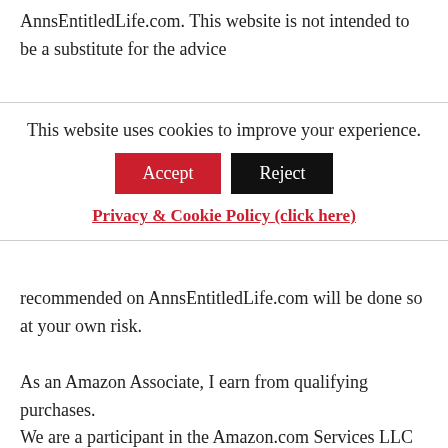AnnsEntitledLife.com. This website is not intended to be a substitute for the advice
This website uses cookies to improve your experience.
Accept | Reject
Privacy & Cookie Policy (click here)
recommended on AnnsEntitledLife.com will be done so at your own risk.
As an Amazon Associate, I earn from qualifying purchases. We are a participant in the Amazon.com Services LLC Associates Program, an affiliate advertising program designed to provide a means for us to earn fees by linking to Amazon.com and affiliated sites.